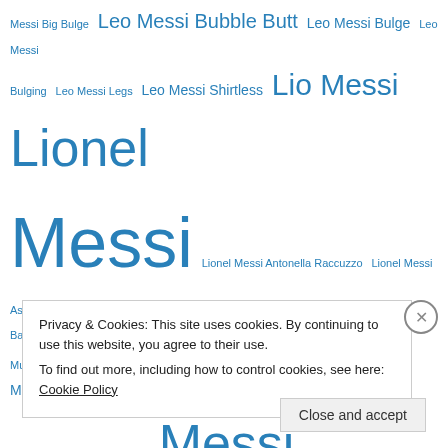Messi Big Bulge Leo Messi Bubble Butt Leo Messi Bulge Leo Messi Bulging Leo Messi Legs Leo Messi Shirtless Lio Messi Lionel Messi Lionel Messi Antonella Raccuzzo Lionel Messi Ass Lionel Messi Barefeet Lionel Messi Bulge Lionel Messi Dolce & Gabbana Lionel Messi Muscle Lionel Messi Shirtless Lionel Messi Sixpack Lionel Messi Six Pack Lionel Messi swimsuit Messi Messi Ass Messi Bulge Messi Naked Messi Shirtless Nadal Nike Rafael Nadal Rafael Nadal Ass Rafael Nadal Butt Rafa Nadal Roddick Sergio
Privacy & Cookies: This site uses cookies. By continuing to use this website, you agree to their use.
To find out more, including how to control cookies, see here: Cookie Policy
Close and accept